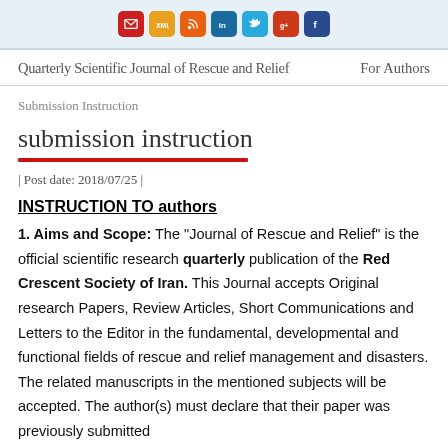[Figure (other): Row of social media / sharing icon buttons: email (red), XML (orange), RSS (orange), LinkedIn (blue), Twitter (light blue), Google+ (red), Facebook (dark blue)]
Quarterly Scientific Journal of Rescue and Relief    For Authors
Submission Instruction
submission instruction
| Post date: 2018/07/25 |
INSTRUCTION TO authors
1. Aims and Scope: The "Journal of Rescue and Relief" is the official scientific research quarterly publication of the Red Crescent Society of Iran. This Journal accepts Original research Papers, Review Articles, Short Communications and Letters to the Editor in the fundamental, developmental and functional fields of rescue and relief management and disasters. The related manuscripts in the mentioned subjects will be accepted. The author(s) must declare that their paper was previously submitted...